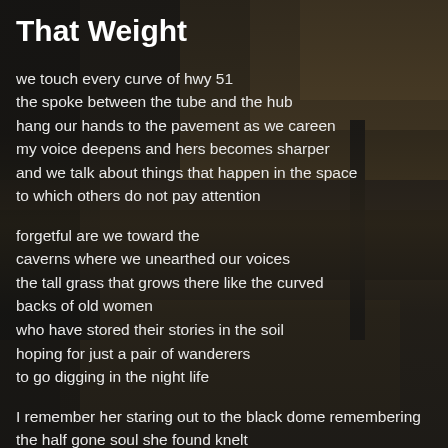[Figure (photo): Dark atmospheric background photo showing a road or highway with overpass infrastructure, taken at dusk or dawn with warm golden tones partially obscured by dark overlay]
That Weight
we touch every curve of hwy 51
the spoke between the tube and the hub
hang our hands to the pavement as we careen
my voice deepens and hers becomes sharper
and we talk about things that happen in the space
to which others do not pay attention
forgetful are we toward the
caverns where we unearthed our voices
the tall grass that grows there like the curved
backs of old women
who have stored their stories in the soil
hoping for just a pair of wanderers
to go digging in the night life
I remember her staring out to the black dome remembering
the half gone soul she found knelt
in a dying prayer, crying herself legless into the ground
spewing the